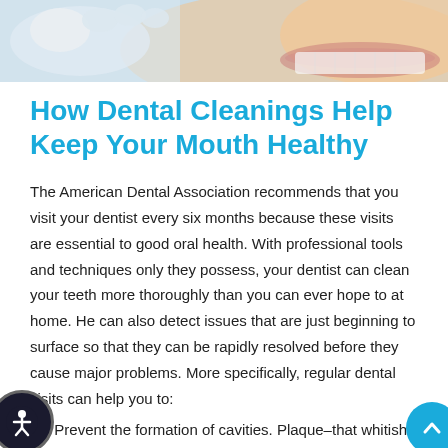[Figure (photo): Close-up photo of a dental examination, showing gloved hands near a patient's mouth/teeth area with a light background]
How Dental Cleanings Help Keep Your Mouth Healthy
The American Dental Association recommends that you visit your dentist every six months because these visits are essential to good oral health. With professional tools and techniques only they possess, your dentist can clean your teeth more thoroughly than you can ever hope to at home. He can also detect issues that are just beginning to surface so that they can be rapidly resolved before they cause major problems. More specifically, regular dental visits can help you to:
Prevent the formation of cavities. Plaque–that whitish